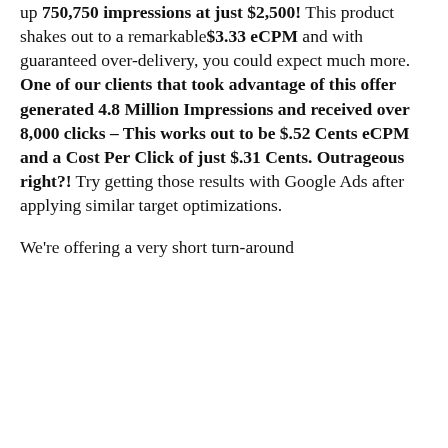up 750,750 impressions at just $2,500! This product shakes out to a remarkable $3.33 eCPM and with guaranteed over-delivery, you could expect much more. One of our clients that took advantage of this offer generated 4.8 Million Impressions and received over 8,000 clicks – This works out to be $.52 Cents eCPM and a Cost Per Click of just $.31 Cents. Outrageous right?! Try getting those results with Google Ads after applying similar target optimizations.
We're offering a very short turn-around